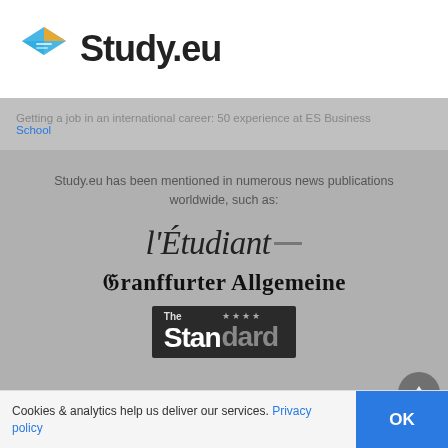Study.eu
Getting a job in an international career: 50 experience at ES Business School
Study.eu has been mentioned in numerous news publications worldwide, such as:
[Figure (logo): l'Etudiant logo in italic serif font]
[Figure (logo): Frankfurter Allgemeine logo in blackletter/fraktur font]
[Figure (logo): The Standard newspaper logo in dark box with white text]
Cookies & analytics help us deliver our services. Privacy policy
OK